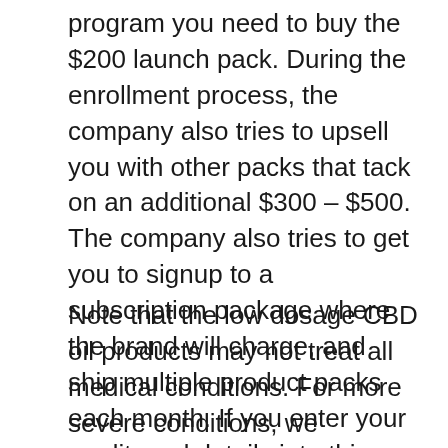program you need to buy the $200 launch pack. During the enrollment process, the company also tries to upsell you with other packs that tack on an additional $300 – $500. The company also tries to get you to signup to a subscription package where the brand will charge, and ship multiple product packs each month. If you enter your credit card details into this website it will be charged one or more times.
Note that the low dosage CBD oil products may not treat all medical conditions. For more severe conditions, we recommend consulting with your doctor to see if a low dosage or high dosage CBD oil product is suitable for you. It's the most popular